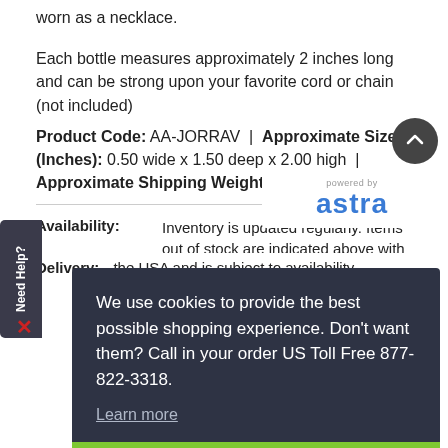worn as a necklace.
Each bottle measures approximately 2 inches long and can be strong upon your favorite cord or chain (not included) Product Code: AA-JORRAV | Approximate Size (Inches): 0.50 wide x 1.50 deep x 2.00 high | Approximate Shipping Weight: 0.25 lbs.
Availability: Inventory is updated regularly. Items out of stock are indicated above with estimated
We use cookies to provide the best possible shopping experience. Don't want them? Call in your order US Toll Free 877-822-3318. Learn more
Got it!
Delivery: the USA and is subject to availability,